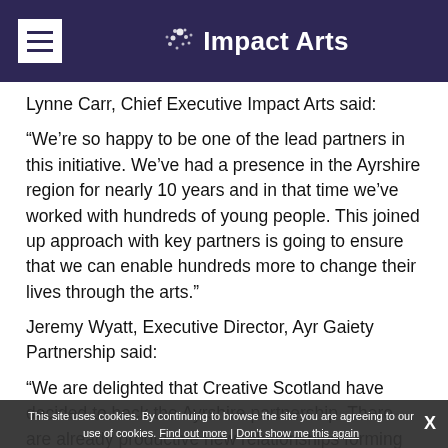Impact Arts
Lynne Carr, Chief Executive Impact Arts said:
“We’re so happy to be one of the lead partners in this initiative. We’ve had a presence in the Ayrshire region for nearly 10 years and in that time we’ve worked with hundreds of young people. This joined up approach with key partners is going to ensure that we can enable hundreds more to change their lives through the arts.”
Jeremy Wyatt, Executive Director, Ayr Gaiety Partnership said:
“We are delighted that Creative Scotland have decided to back the Ayrshire partnership. There are already productive new relationships forming and I expect the funding to be a catalyst for many more. Our first step will be setting up the youth panel to lead on the key decisions going forward.”
This site uses cookies. By continuing to browse the site you are agreeing to our use of cookies. Find out more | Don’t show me this again